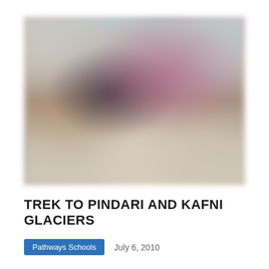[Figure (photo): Blurred photograph showing people, appears to be outdoors with blurred figures wearing colorful clothing including pink/purple tones, set against a light background]
TREK TO PINDARI AND KAFNI GLACIERS
Pathways Schools
July 6, 2010